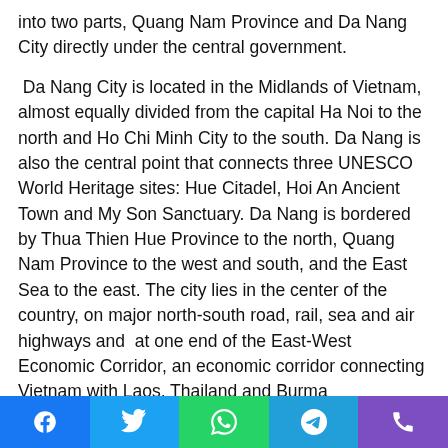into two parts, Quang Nam Province and Da Nang City directly under the central government.
Da Nang City is located in the Midlands of Vietnam, almost equally divided from the capital Ha Noi to the north and Ho Chi Minh City to the south. Da Nang is also the central point that connects three UNESCO World Heritage sites: Hue Citadel, Hoi An Ancient Town and My Son Sanctuary. Da Nang is bordered by Thua Thien Hue Province to the north, Quang Nam Province to the west and south, and the East Sea to the east. The city lies in the center of the country, on major north-south road, rail, sea and air highways and  at one end of the East-West Economic Corridor, an economic corridor connecting Vietnam with Laos, Thailand and Burma
Where to travel in Da Nang in one day?
Social share buttons: Facebook, Twitter, WhatsApp, Telegram, Phone